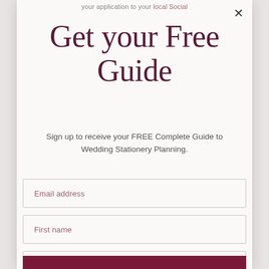your application to your local Social
Get your Free Guide
Sign up to receive your FREE Complete Guide to Wedding Stationery Planning.
Email address
First name
Last name